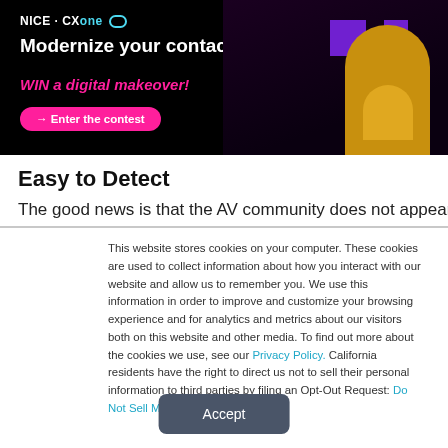[Figure (photo): NICE CXone advertisement banner on black background. Text reads: 'Modernize your contact center. WIN a digital makeover!' with a pink button 'Enter the contest'. Right side shows a woman in yellow top wearing headphones with purple geometric squares.]
Easy to Detect
The good news is that the AV community does not appear
This website stores cookies on your computer. These cookies are used to collect information about how you interact with our website and allow us to remember you. We use this information in order to improve and customize your browsing experience and for analytics and metrics about our visitors both on this website and other media. To find out more about the cookies we use, see our Privacy Policy. California residents have the right to direct us not to sell their personal information to third parties by filing an Opt-Out Request: Do Not Sell My Personal Info.